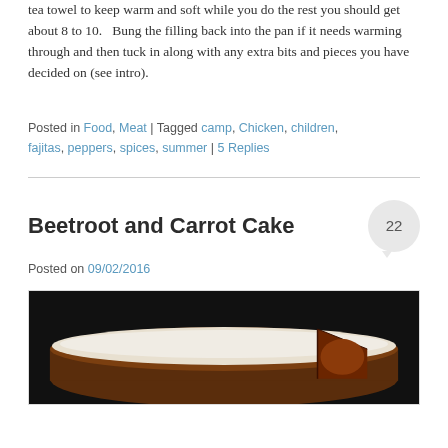tea towel to keep warm and soft while you do the rest you should get about 8 to 10.  Bung the filling back into the pan if it needs warming through and then tuck in along with any extra bits and pieces you have decided on (see intro).
Posted in Food, Meat | Tagged camp, Chicken, children, fajitas, peppers, spices, summer | 5 Replies
Beetroot and Carrot Cake
Posted on 09/02/2016
[Figure (photo): Photo of a beetroot and carrot cake with white cream cheese frosting on a dark background, with a slice cut out showing the interior.]